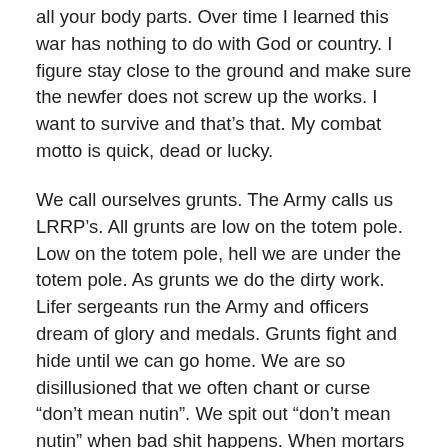all your body parts. Over time I learned this war has nothing to do with God or country. I figure stay close to the ground and make sure the newfer does not screw up the works. I want to survive and that's that. My combat motto is quick, dead or lucky.
We call ourselves grunts. The Army calls us LRRP's. All grunts are low on the totem pole. Low on the totem pole, hell we are under the totem pole. As grunts we do the dirty work. Lifer sergeants run the Army and officers dream of glory and medals. Grunts fight and hide until we can go home. We are so disillusioned that we often chant or curse “don’t mean nutin”. We spit out “don’t mean nutin” when bad shit happens. When mortars come into base or a helicopter crashes, we spit out “don't mean nutin” and watch the rear echelon people run for cover. While in the